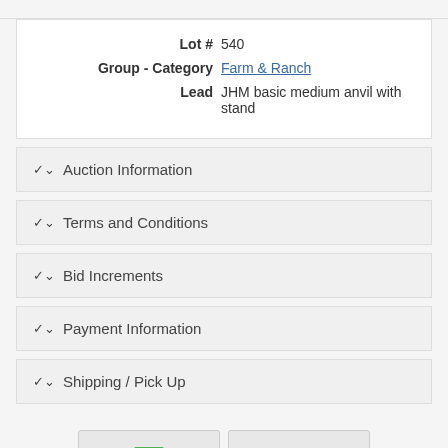Lot # 540
Group - Category Farm & Ranch
Lead JHM basic medium anvil with stand
Auction Information
Terms and Conditions
Bid Increments
Payment Information
Shipping / Pick Up